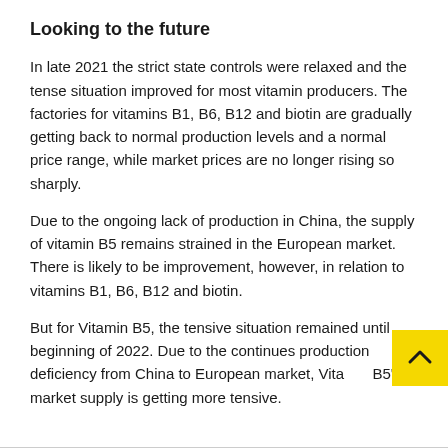Looking to the future
In late 2021 the strict state controls were relaxed and the tense situation improved for most vitamin producers. The factories for vitamins B1, B6, B12 and biotin are gradually getting back to normal production levels and a normal price range, while market prices are no longer rising so sharply.
Due to the ongoing lack of production in China, the supply of vitamin B5 remains strained in the European market. There is likely to be improvement, however, in relation to vitamins B1, B6, B12 and biotin.
But for Vitamin B5, the tensive situation remained until beginning of 2022. Due to the continues production deficiency from China to European market, Vitamin B5's market supply is getting more tensive.